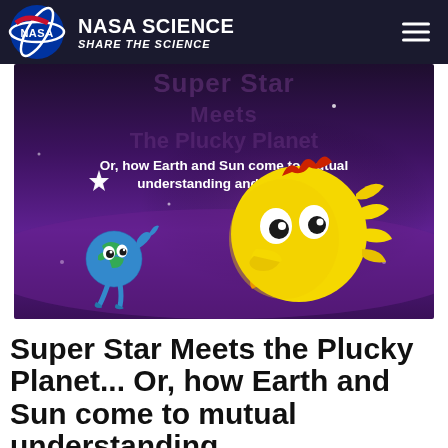NASA SCIENCE – SHARE THE SCIENCE
[Figure (illustration): Book cover illustration: cartoon Sun character (large yellow bird-like creature with orange flame feet and red crest) facing a small cartoon Earth character (small blue-green planet with arms and legs) on a purple cosmic background with stars. Text overlay reads 'Or, how Earth and Sun come to mutual understanding and respect'. Background shows faded text 'Super Star Meets The Plucky Planet'.]
Super Star Meets the Plucky Planet... Or, how Earth and Sun come to mutual understanding